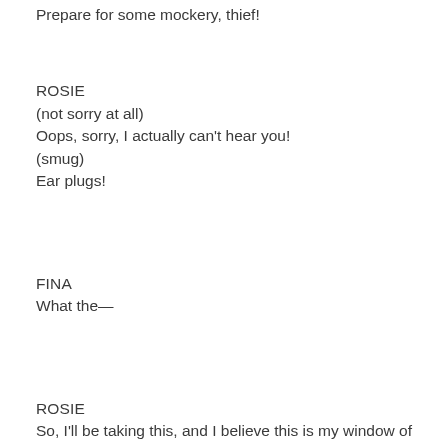Prepare for some mockery, thief!
ROSIE
(not sorry at all)
Oops, sorry, I actually can't hear you!
(smug)
Ear plugs!
FINA
What the—
ROSIE
So, I'll be taking this, and I believe this is my window of